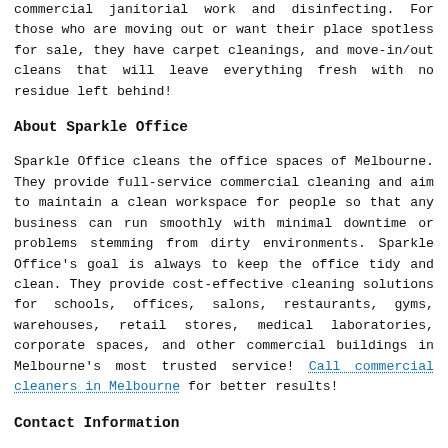commercial janitorial work and disinfecting. For those who are moving out or want their place spotless for sale, they have carpet cleanings, and move-in/out cleans that will leave everything fresh with no residue left behind!
About Sparkle Office
Sparkle Office cleans the office spaces of Melbourne. They provide full-service commercial cleaning and aim to maintain a clean workspace for people so that any business can run smoothly with minimal downtime or problems stemming from dirty environments. Sparkle Office's goal is always to keep the office tidy and clean. They provide cost-effective cleaning solutions for schools, offices, salons, restaurants, gyms, warehouses, retail stores, medical laboratories, corporate spaces, and other commercial buildings in Melbourne's most trusted service! Call commercial cleaners in Melbourne for better results!
Contact Information